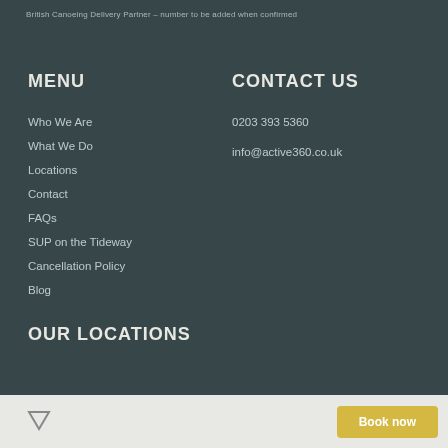British Canoeing Delivery Partner – number to be added when confirmed
MENU
Who We Are
What We Do
Locations
Contact
FAQs
SUP on the Tideway
Cancellation Policy
Blog
CONTACT US
0203 393 5360
info@active360.co.uk
OUR LOCATIONS
Book now